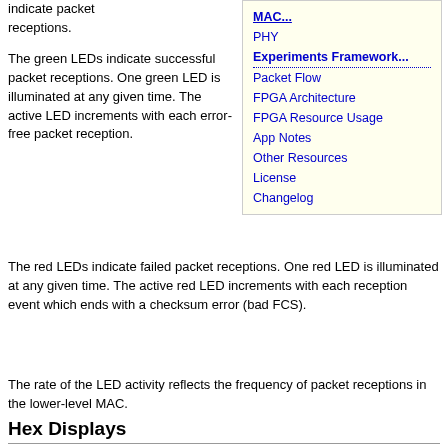indicate packet receptions.
[Figure (other): Navigation sidebar box with links: MAC..., PHY, Experiments Framework..., Packet Flow, FPGA Architecture, FPGA Resource Usage, App Notes, Other Resources, License, Changelog]
The green LEDs indicate successful packet receptions. One green LED is illuminated at any given time. The active LED increments with each error-free packet reception.
The red LEDs indicate failed packet receptions. One red LED is illuminated at any given time. The active red LED increments with each reception event which ends with a checksum error (bad FCS).
The rate of the LED activity reflects the frequency of packet receptions in the lower-level MAC.
Hex Displays
The MAC High Framework uses the hex displays to indicate error conditions during initialization. If an error occurs the displays will show one of the following codes:
E0: The MAC code failed a change of the ">>" (right shift) operator, indicating the application was compiled with a buggy version Xilinx tools
E1: ...